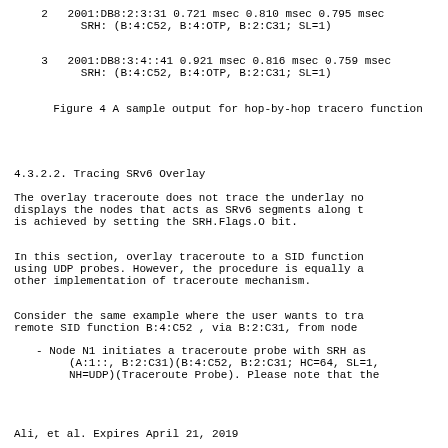2   2001:DB8:2:3:31 0.721 msec 0.810 msec 0.795 msec
        SRH: (B:4:C52, B:4:OTP, B:2:C31; SL=1)
3   2001:DB8:3:4::41 0.921 msec 0.816 msec 0.759 msec
        SRH: (B:4:C52, B:4:OTP, B:2:C31; SL=1)
Figure 4 A sample output for hop-by-hop tracero
                        function
4.3.2.2. Tracing SRv6 Overlay
The overlay traceroute does not trace the underlay no
displays the nodes that acts as SRv6 segments along t
is achieved by setting the SRH.Flags.O bit.
In this section, overlay traceroute to a SID function
using UDP probes. However, the procedure is equally a
other implementation of traceroute mechanism.
Consider the same example where the user wants to tra
remote SID function B:4:C52 , via B:2:C31, from node
- Node N1 initiates a traceroute probe with SRH as
     (A:1::, B:2:C31)(B:4:C52, B:2:C31; HC=64, SL=1,
     NH=UDP)(Traceroute Probe). Please note that the
Ali, et al.          Expires April 21, 2019